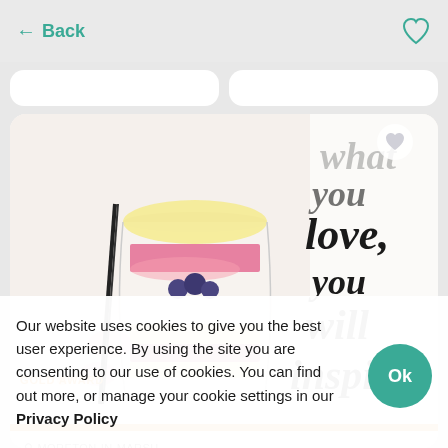← Back
[Figure (photo): Watercolor illustration of a layered dessert/parfait glass with berries and cream on the left half, and brush-lettered calligraphy text reading 'you love, you will inspire...' on the right half. Orange GOLD AWARD badge with circular logo in bottom-left. Heart/favorite icon top-right.]
MORETON-IN-MARSH
Brush lettering
Our website uses cookies to give you the best user experience. By using the site you are consenting to our use of cookies. You can find out more, or manage your cookie settings in our Privacy Policy